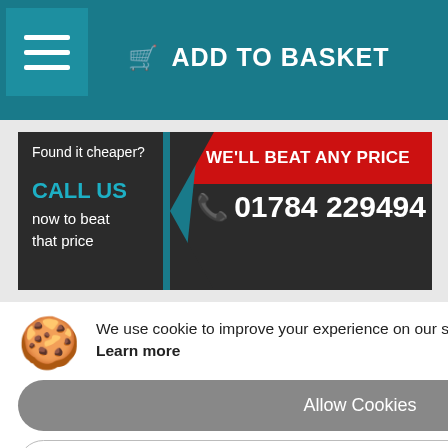[Figure (screenshot): Teal navigation bar with hamburger menu icon on left and ADD TO BASKET button in center]
[Figure (screenshot): Price beat banner: 'Found it cheaper? WE'LL BEAT ANY PRICE' in red, 'CALL US now to beat that price' with phone number 01784 229494]
We use cookie to improve your experience on our site. By using our site you consent cookies. Learn more
[Figure (screenshot): Allow Cookies button (grey rounded) and Decline button (white rounded outline)]
ckout for FREE